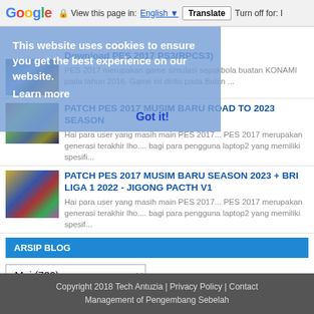Google | View this page in: English | Translate | Turn off for: I
This website uses cookies to ensure you get the best experience on our website. Learn more  Got it!
[Figure (screenshot): Thumbnail image for PES 2017 download post]
Download PES 2017 PS3(RPCS3)
PES 2017 merupakan game simulasi sepakbola buatan KONAMI pada tahun 2016. Game ini dirilis pada Bulan ...
[Figure (screenshot): Thumbnail image for Patch PES 2017 Musim Baru Road to 2023 Season post]
PATCH PES 2017 MUSIM BARU ROAD TO 2023 SEASON
Hai para user yang masih main PES 2017... PES 2017 merupakan generasi terakhir lho.... bagi para pengguna laptop2 yang memiliki spesifi...
[Figure (screenshot): Thumbnail image for Patch PES 2017 Musim Baru Season 2023 + BRI Liga post]
PATCH PES 2017 MUSIM BARU SEASON 2023 + BRI LIGA 1 2022 - JIGONG PACTH V1
Hai para user yang masih main PES 2017... PES 2017 merupakan generasi terakhir lho.... bagi para pengguna laptop2 yang memiliki spesif...
ARSIP BLOG
Mei (732)
Copyright 2018 Tech Antuzia | Privacy Policy | Contact
Management of Pengembang Sebelah